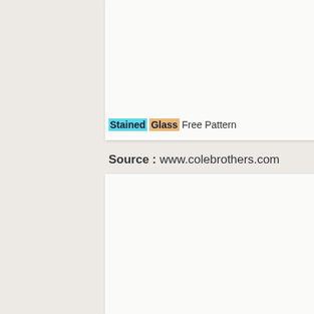Stained Glass Free Pattern
Source : www.colebrothers.com